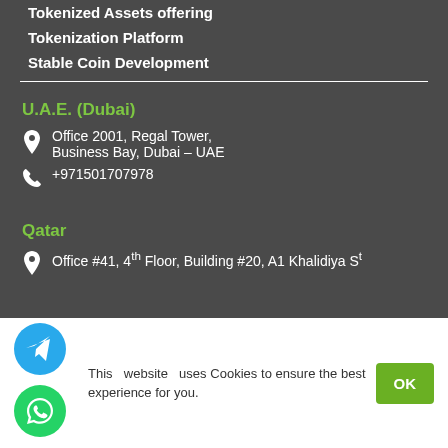Tokenized Assets offering
Tokenization Platform
Stable Coin Development
U.A.E. (Dubai)
Office 2001, Regal Tower, Business Bay, Dubai – UAE
+971501707978
Qatar
Office #41, 4th Floor, Building #20, A1 Khalidiya St
This website uses Cookies to ensure the best experience for you.